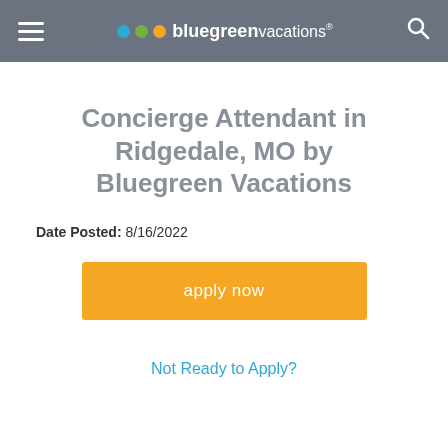bluegreen vacations
Concierge Attendant in Ridgedale, MO by Bluegreen Vacations
Date Posted: 8/16/2022
apply now
Not Ready to Apply?